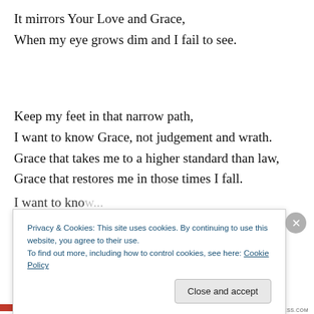It mirrors Your Love and Grace,
When my eye grows dim and I fail to see.
Keep my feet in that narrow path,
I want to know Grace, not judgement and wrath.
Grace that takes me to a higher standard than law,
Grace that restores me in those times I fall.
Privacy & Cookies: This site uses cookies. By continuing to use this website, you agree to their use. To find out more, including how to control cookies, see here: Cookie Policy
Close and accept